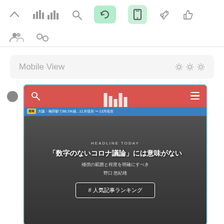[Figure (screenshot): Web analytics or CMS toolbar with icons: up-arrow, bar-chart, search, highlighted refresh/sync icon (green), highlighted mobile icon (green), send/rocket, thumbs-up. Second row has user-group and link icons. Below is a 'Mobile View' panel header with settings gear icons. Inside the panel, a mobile device preview frame with a Japanese news website showing a red navigation bar with search and hamburger icons, a vertical bar logo, a news article headline in Japanese, and a ranking button.]